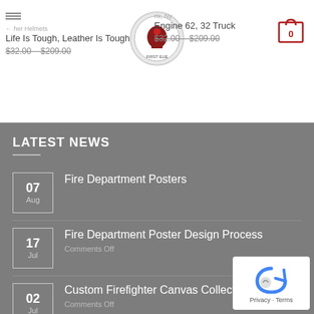[Figure (screenshot): Website header with logo, navigation hamburger icon, product listings with prices, and cart icon]
LATEST NEWS
07 Aug — Fire Department Posters
17 Jul — Fire Department Poster Design Process
Comments Off
02 Jul — Custom Firefighter Canvas Collectible
Comments Off
22 Jun — Firefighter Poster Prints
Comments Off